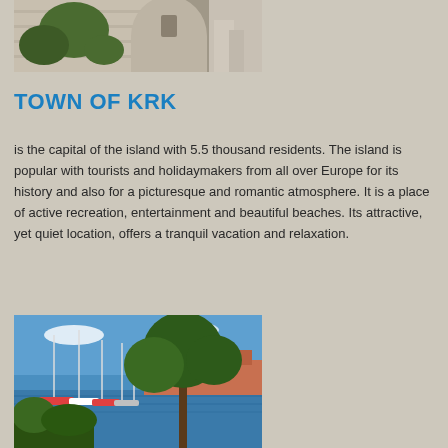[Figure (photo): Partial view of a stone church or historic building with cylindrical tower, trees visible]
TOWN OF KRK
is the capital of the island with 5.5 thousand residents. The island is popular with tourists and holidaymakers from all over Europe for its history and also for a picturesque and romantic atmosphere. It is a place of active recreation, entertainment and beautiful beaches. Its attractive, yet quiet location, offers a tranquil vacation and relaxation.
[Figure (photo): Marina/harbour scene with sailboats moored, colourful boats, trees in foreground, blue sky]